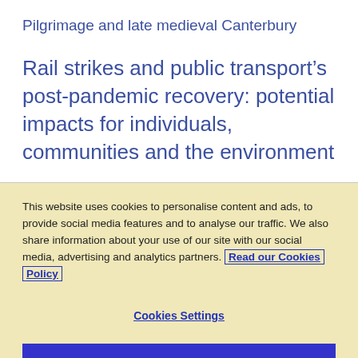Pilgrimage and late medieval Canterbury
Rail strikes and public transport’s post-pandemic recovery: potential impacts for individuals, communities and the environment
This website uses cookies to personalise content and ads, to provide social media features and to analyse our traffic. We also share information about your use of our site with our social media, advertising and analytics partners. Read our Cookies Policy
Cookies Settings
Reject All
Accept All Cookies